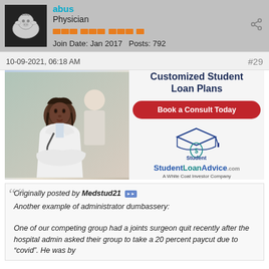abus | Physician | Join Date: Jan 2017  Posts: 792
10-09-2021, 06:18 AM
#29
[Figure (illustration): Advertisement for StudentLoanAdvice.com showing a Black female physician in a white coat with stethoscope. Ad text: 'Customized Student Loan Plans', 'Book a Consult Today', StudentLoanAdvice.com logo, 'A White Coat Investor Company']
Originally posted by Medstud21
Another example of administrator dumbassery:

One of our competing group had a joints surgeon quit recently after the hospital admin asked their group to take a 20 percent paycut due to "covid". He was by